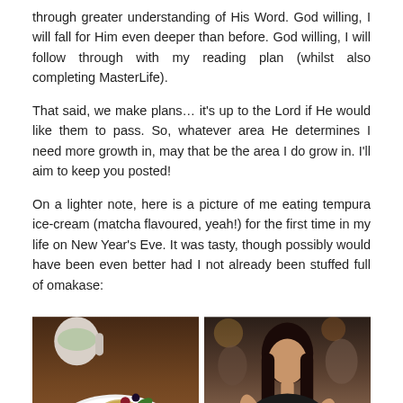through greater understanding of His Word. God willing, I will fall for Him even deeper than before. God willing, I will follow through with my reading plan (whilst also completing MasterLife).
That said, we make plans… it's up to the Lord if He would like them to pass. So, whatever area He determines I need more growth in, may that be the area I do grow in. I'll aim to keep you posted!
On a lighter note, here is a picture of me eating tempura ice-cream (matcha flavoured, yeah!) for the first time in my life on New Year's Eve. It was tasty, though possibly would have been even better had I not already been stuffed full of omakase:
[Figure (photo): Left photo: a white plate with tempura ice-cream dessert garnished with berries and mint, red sauce swirls on the plate, a white mug in the background, on a wooden table.]
[Figure (photo): Right photo: a young Asian woman with long dark hair sitting at a restaurant table, wearing a black top, with a white cup visible in the bottom right corner.]